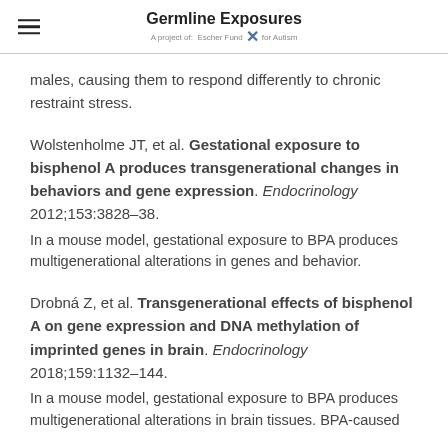Germline Exposures — A project of: Escher Fund X for Autism
males, causing them to respond differently to chronic restraint stress.
Wolstenholme JT, et al. Gestational exposure to bisphenol A produces transgenerational changes in behaviors and gene expression. Endocrinology 2012;153:3828–38.
In a mouse model, gestational exposure to BPA produces multigenerational alterations in genes and behavior.
Drobná Z, et al. Transgenerational effects of bisphenol A on gene expression and DNA methylation of imprinted genes in brain. Endocrinology 2018;159:1132–144.
In a mouse model, gestational exposure to BPA produces multigenerational alterations in brain tissues. BPA-caused